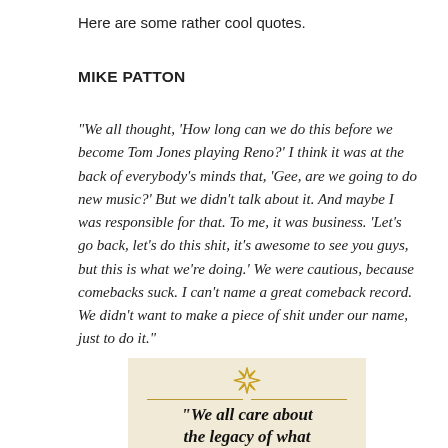Here are some rather cool quotes.
MIKE PATTON
"We all thought, 'How long can we do this before we become Tom Jones playing Reno?' I think it was at the back of everybody's minds that, 'Gee, are we going to do new music?' But we didn't talk about it. And maybe I was responsible for that. To me, it was business. 'Let's go back, let's do this shit, it's awesome to see you guys, but this is what we're doing.' We were cautious, because comebacks suck. I can't name a great comeback record. We didn't want to make a piece of shit under our name, just to do it."
[Figure (illustration): Decorative quote card with a golden star/sun symbol at top, two horizontal gold lines flanking it, and bold italic text beginning: “We all care about the legacy of what” on a cream/tan background.]